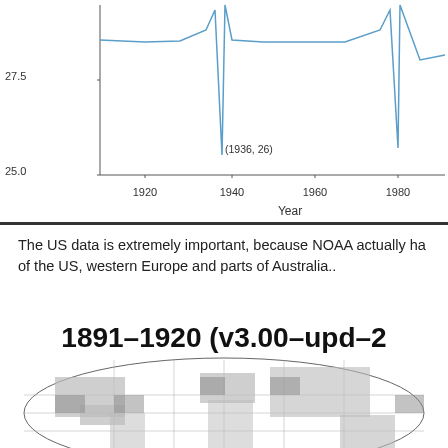[Figure (continuous-plot): Time series line chart showing data from approximately 1910 to 1990+. Y-axis ranges from 25.0 to 27.5. The line shows sharp downward spikes, with one annotated point at (1936, 26) near year 1940, and another spike near 1980. X-axis labeled 'Year' with ticks at 1920, 1940, 1960, 1980.]
The US data is extremely important, because NOAA actually ha of the US, western Europe and parts of Australia..
[Figure (map): World map showing gridded data for the period 1891-1920 (v3.00-upd-2...). Shows shaded grid cells across continents. Map is partially visible, cropped at bottom.]